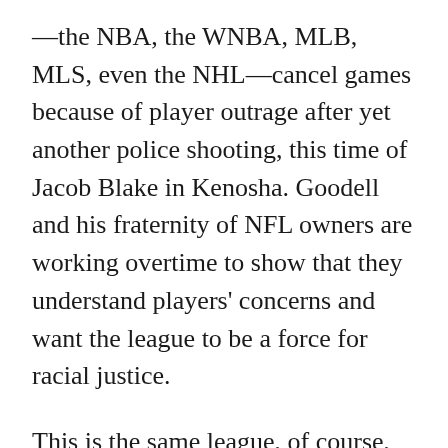—the NBA, the WNBA, MLB, MLS, even the NHL—cancel games because of player outrage after yet another police shooting, this time of Jacob Blake in Kenosha. Goodell and his fraternity of NFL owners are working overtime to show that they understand players' concerns and want the league to be a force for racial justice.

This is the same league, of course, that exiled Colin Kaepernick after the 2016 season because he dared take a knee during the national anthem to demonstrate against police impunity. The same league whose franchise owners provided Donald Trump